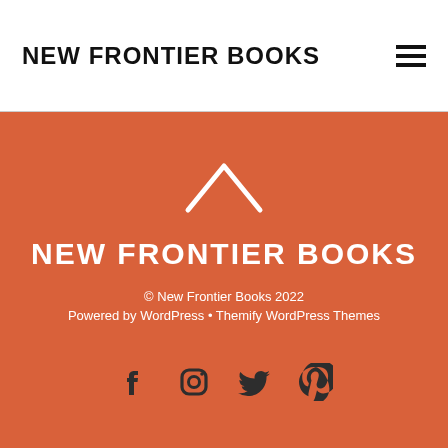NEW FRONTIER BOOKS
NEW FRONTIER BOOKS
© New Frontier Books 2022
Powered by WordPress • Themify WordPress Themes
[Figure (illustration): Four social media icons: Facebook, Instagram, Twitter, Pinterest]